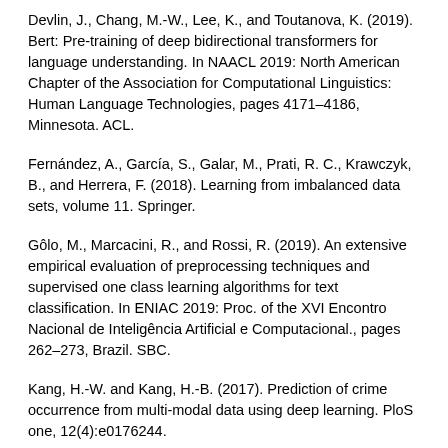Devlin, J., Chang, M.-W., Lee, K., and Toutanova, K. (2019). Bert: Pre-training of deep bidirectional transformers for language understanding. In NAACL 2019: North American Chapter of the Association for Computational Linguistics: Human Language Technologies, pages 4171–4186, Minnesota. ACL.
Fernández, A., García, S., Galar, M., Prati, R. C., Krawczyk, B., and Herrera, F. (2018). Learning from imbalanced data sets, volume 11. Springer.
Gôlo, M., Marcacini, R., and Rossi, R. (2019). An extensive empirical evaluation of preprocessing techniques and supervised one class learning algorithms for text classification. In ENIAC 2019: Proc. of the XVI Encontro Nacional de Inteligência Artificial e Computacional., pages 262–273, Brazil. SBC.
Kang, H.-W. and Kang, H.-B. (2017). Prediction of crime occurrence from multi-modal data using deep learning. PloS one, 12(4):e0176244.
Krawczyk, B., Wózniak, M., and Cyganek, B. (2014). Clustering-based ensembles for one-class classification. Information